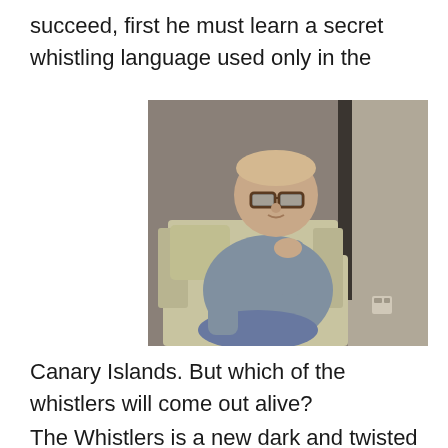succeed, first he must learn a secret whistling language used only in the
[Figure (photo): A heavyset man with glasses wearing a grey polo shirt seated on a beige couch, resting his chin on his hand in a thoughtful pose. Room has grey/brown walls and a window behind him.]
Canary Islands. But which of the whistlers will come out alive?
The Whistlers is a new dark and twisted crime thriller that uncovers multiple layers of crime and corruption in Romania and across Europe. It's directed by Romanian